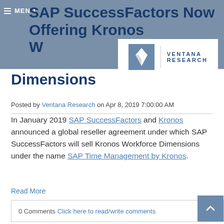≡ MENU
SAP SuccessFactors Now Offering Kronos Workforce Dimensions
[Figure (logo): Ventana Research logo with V symbol and text VENTANA RESEARCH]
Posted by Ventana Research on Apr 8, 2019 7:00:00 AM
In January 2019 SAP SuccessFactors and Kronos announced a global reseller agreement under which SAP SuccessFactors will sell Kronos Workforce Dimensions under the name SAP Time Management by Kronos.
Read More
0 Comments Click here to read/write comments